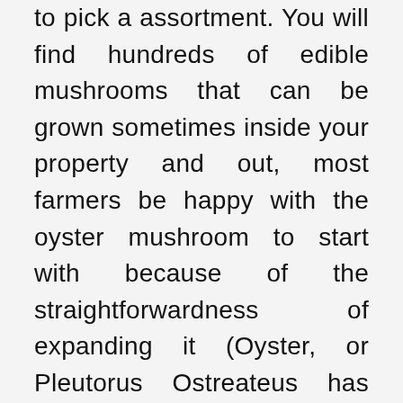to pick a assortment. You will find hundreds of edible mushrooms that can be grown sometimes inside your property and out, most farmers be happy with the oyster mushroom to start with because of the straightforwardness of expanding it (Oyster, or Pleutorus Ostreateus has extremely energetic development and so is incredibly likely to develop because of the appropriate problems). Upon having decided on a kind of mushroom to cultivate you